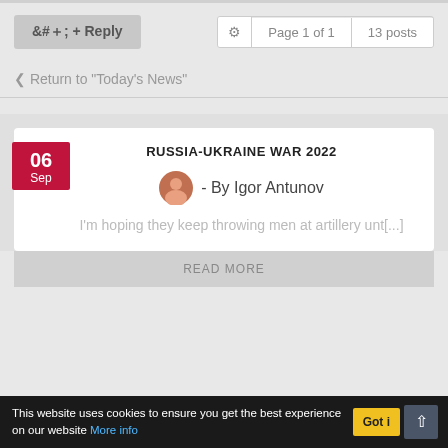+ Reply
Page 1 of 1   13 posts
< Return to "Today's News"
RUSSIA-UKRAINE WAR 2022
- By Igor Antunov
I'm hoping they keep throwing men at artillery unt[...]
READ MORE
This website uses cookies to ensure you get the best experience on our website More info   Got it